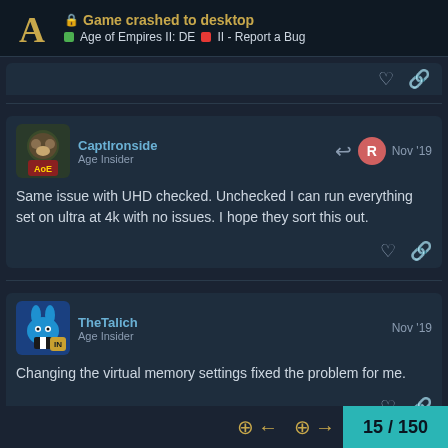🔒 Game crashed to desktop | Age of Empires II: DE | II - Report a Bug
Same issue with UHD checked. Unchecked I can run everything set on ultra at 4k with no issues. I hope they sort this out.
CaptIronside - Age Insider - Nov '19
Changing the virtual memory settings fixed the problem for me.
TheTalich - Age Insider - Nov '19
15 / 150